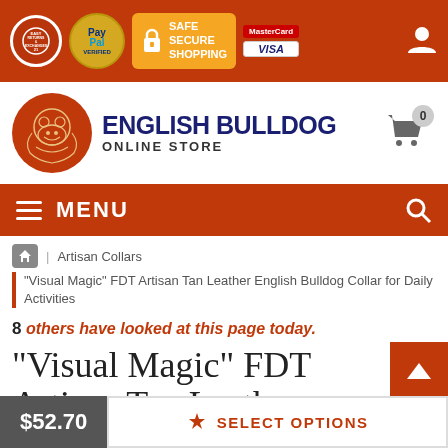Easy Returns & Exchanges | PayPal Verified | Safe Secure Shopping | MasterCard | Visa
[Figure (logo): English Bulldog Online Store logo with bulldog circle emblem]
MENU
Artisan Collars
"Visual Magic" FDT Artisan Tan Leather English Bulldog Collar for Daily Activities
8 others have looked at this page today.
"Visual Magic" FDT Artisan Tan Leather English Bulldo...
$52.70
SELECT OPTIONS